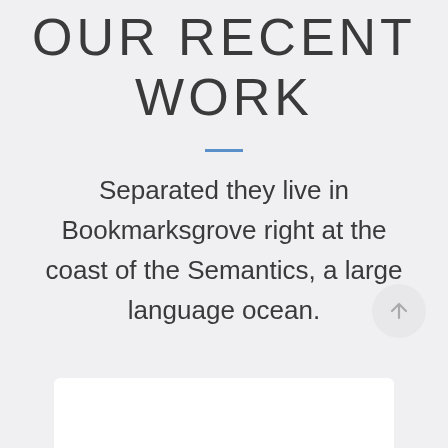OUR RECENT WORK
Separated they live in Bookmarksgrove right at the coast of the Semantics, a large language ocean.
[Figure (other): Scroll-to-top circular button with upward arrow icon]
[Figure (other): White card/panel at the bottom of the page, partially visible]